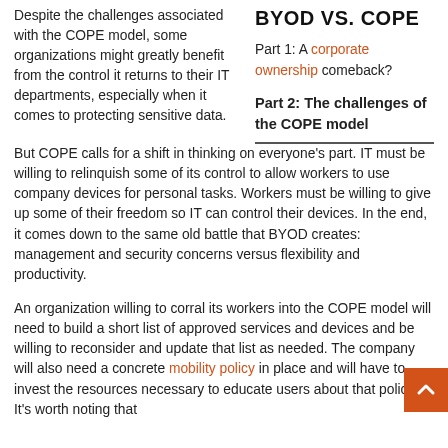BYOD VS. COPE
Part 1: A corporate ownership comeback?
Part 2: The challenges of the COPE model
Despite the challenges associated with the COPE model, some organizations might greatly benefit from the control it returns to their IT departments, especially when it comes to protecting sensitive data. But COPE calls for a shift in thinking on everyone's part. IT must be willing to relinquish some of its control to allow workers to use company devices for personal tasks. Workers must be willing to give up some of their freedom so IT can control their devices. In the end, it comes down to the same old battle that BYOD creates: management and security concerns versus flexibility and productivity.
An organization willing to corral its workers into the COPE model will need to build a short list of approved services and devices and be willing to reconsider and update that list as needed. The company will also need a concrete mobility policy in place and will have to invest the resources necessary to educate users about that policy. It's worth noting that